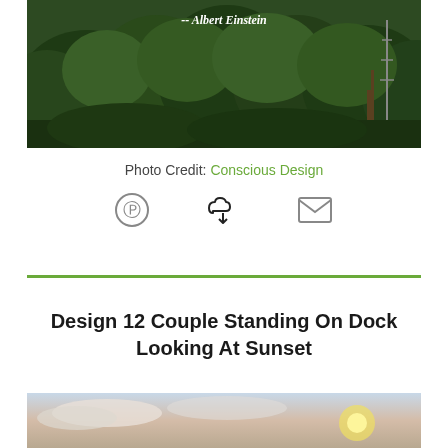[Figure (photo): Lush green tropical forest/jungle photo with text '-- Albert Einstein' overlaid in white bold italic at the top center]
Photo Credit: Conscious Design
[Figure (infographic): Three icons in a row: Pinterest circle icon (gray), cloud download icon (black), and envelope/mail icon (gray)]
Design 12 Couple Standing On Dock Looking At Sunset
[Figure (photo): Sunset photo showing sky with warm colors, partially visible at bottom of page]